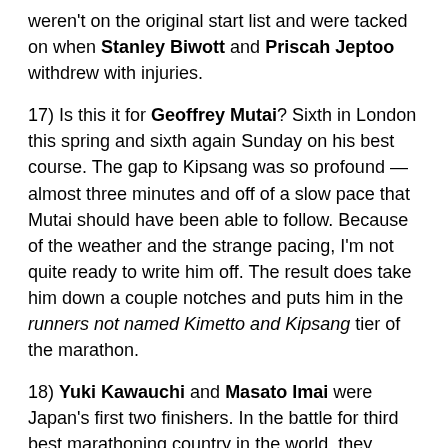weren't on the original start list and were tacked on when Stanley Biwott and Priscah Jeptoo withdrew with injuries.
17) Is this it for Geoffrey Mutai? Sixth in London this spring and sixth again Sunday on his best course. The gap to Kipsang was so profound — almost three minutes and off of a slow pace that Mutai should have been able to follow. Because of the weather and the strange pacing, I'm not quite ready to write him off. The result does take him down a couple notches and puts him in the runners not named Kimetto and Kipsang tier of the marathon.
18) Yuki Kawauchi and Masato Imai were Japan's first two finishers. In the battle for third best marathoning country in the world, they finished just behind the United States who had one runner before Imai, (Meb) and two more place ahead of Kawauchi (Vail and Arciniaga).
19) This is how Nick Arciniaga finished the